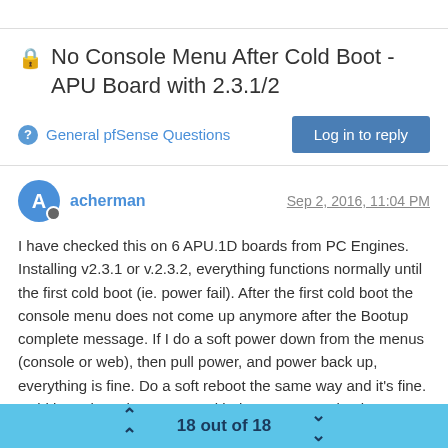🔒 No Console Menu After Cold Boot - APU Board with 2.3.1/2
General pfSense Questions
acherman  Sep 2, 2016, 11:04 PM
I have checked this on 6 APU.1D boards from PC Engines.  Installing v2.3.1 or v.2.3.2, everything functions normally until the first cold boot (ie. power fail).  After the first cold boot the console menu does not come up anymore after the Bootup complete message.  If I do a soft power down from the menus (console or web), then pull power, and power back up, everything is fine.  Do a soft reboot the same way and it's fine.  Cold boot, lose the menu, and it does not come back.  Everything seems to function normally.  Downgrade (fresh install) to 2.3 and it's all good.  So I
18 out of 18